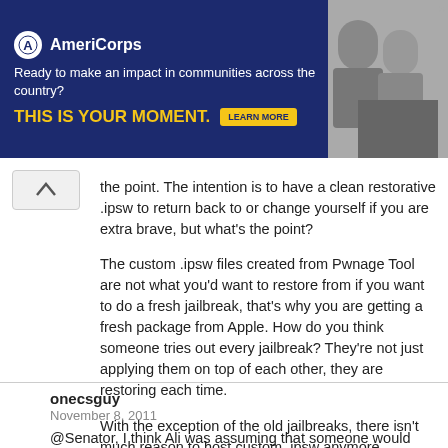[Figure (other): AmeriCorps advertisement banner with dark blue background. Logo with white circle and 'A', text 'AmeriCorps', tagline 'Ready to make an impact in communities across the country?', bold yellow text 'THIS IS YOUR MOMENT.', a yellow 'LEARN MORE' button, and a photo of people on the right.]
the point. The intention is to have a clean restorative .ipsw to return back to or change yourself if you are extra brave, but what's the point?
The custom .ipsw files created from Pwnage Tool are not what you'd want to restore from if you want to do a fresh jailbreak, that's why you are getting a fresh package from Apple. How do you think someone tries out every jailbreak? They're not just applying them on top of each other, they are restoring each time.
With the exception of the old jailbreaks, there isn't much reason to host custom .ipsw anymore.
Reply
onecsguy
November 8, 2011
@Senator, I think Ali was assuming that someone would Jailbreak a phone, then just